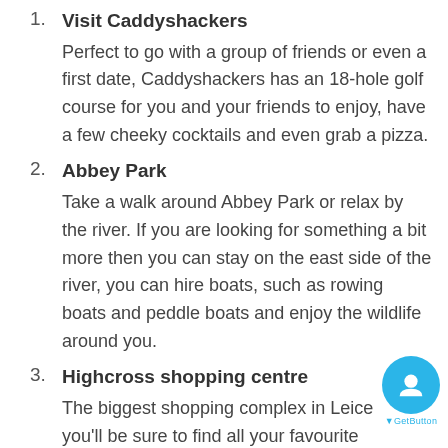1. Visit Caddyshackers — Perfect to go with a group of friends or even a first date, Caddyshackers has an 18-hole golf course for you and your friends to enjoy, have a few cheeky cocktails and even grab a pizza.
2. Abbey Park — Take a walk around Abbey Park or relax by the river. If you are looking for something a bit more then you can stay on the east side of the river, you can hire boats, such as rowing boats and peddle boats and enjoy the wildlife around you.
3. Highcross shopping centre — The biggest shopping complex in Leicester, you'll be sure to find all your favourite shops, if you fancy something to eat or a